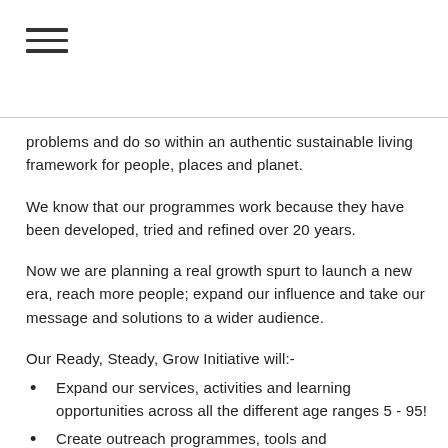≡
problems and do so within an authentic sustainable living framework for people, places and planet.
We know that our programmes work because they have been developed, tried and refined over 20 years.
Now we are planning a real growth spurt to launch a new era, reach more people; expand our influence and take our message and solutions to a wider audience.
Our Ready, Steady, Grow Initiative will:-
Expand our services, activities and learning opportunities across all the different age ranges 5 - 95!
Create outreach programmes, tools and